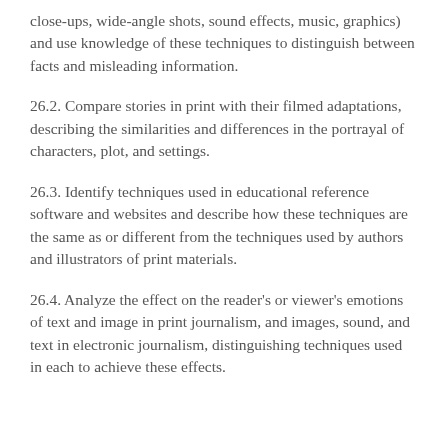close-ups, wide-angle shots, sound effects, music, graphics) and use knowledge of these techniques to distinguish between facts and misleading information.
26.2. Compare stories in print with their filmed adaptations, describing the similarities and differences in the portrayal of characters, plot, and settings.
26.3. Identify techniques used in educational reference software and websites and describe how these techniques are the same as or different from the techniques used by authors and illustrators of print materials.
26.4. Analyze the effect on the reader's or viewer's emotions of text and image in print journalism, and images, sound, and text in electronic journalism, distinguishing techniques used in each to achieve these effects.